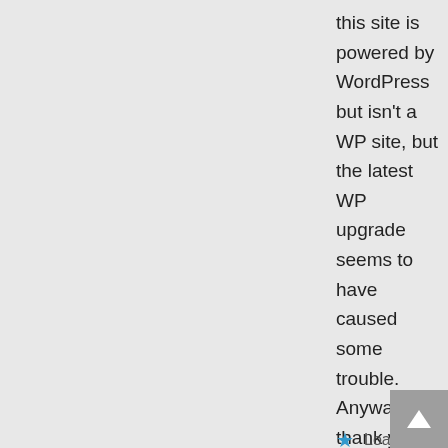this site is powered by WordPress but isn't a WP site, but the latest WP upgrade seems to have caused some trouble. Anyway thank you for your patience.
★ Loading...
Reply ↓
[Figure (photo): Avatar image for user Bookstooge — dark fiery fantasy book cover with text 'Bookstooge']
Bookstooge ↗
May 8, 2019 at 18:07
No problem. I was just worried it was me. You